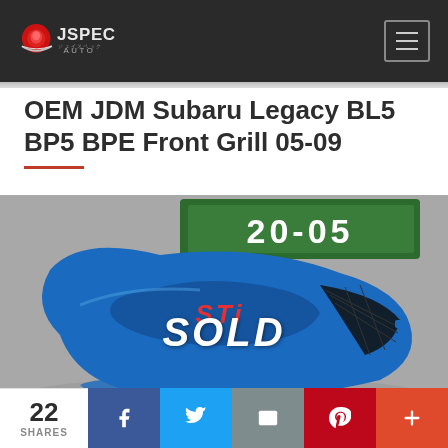JSPEC AUTO — site header with logo and hamburger menu
OEM JDM Subaru Legacy BL5 BP5 BPE Front Grill 05-09
[Figure (photo): Photo of a blue Subaru JDM front grill part with STI branding, placed on a gray surface next to a green license plate reading 20-05. A SOLD watermark appears at the bottom of the image.]
22 SHARES — Share buttons: Facebook, Twitter, Email, Pinterest, More